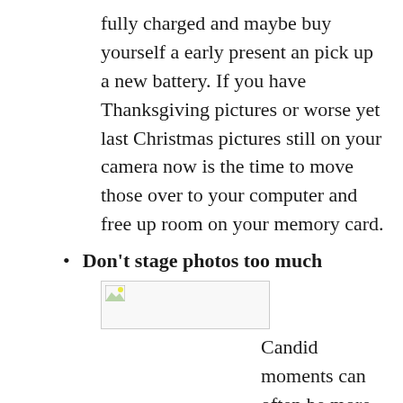fully charged and maybe buy yourself a early present an pick up a new battery. If you have Thanksgiving pictures or worse yet last Christmas pictures still on your camera now is the time to move those over to your computer and free up room on your memory card.
Don't stage photos too much
[Figure (photo): Broken/missing image placeholder with small image icon in top-left corner]
Candid moments can often be more memorable than staged photos. Let the day flow, you will be less stressed and